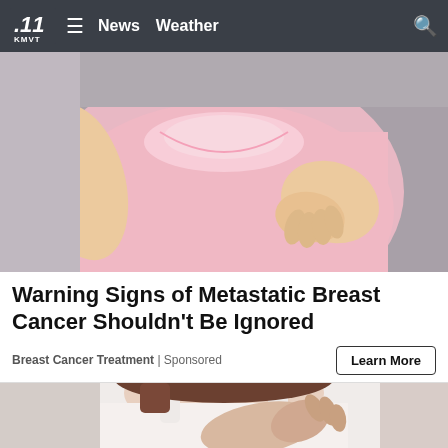KMVT .11 | News Weather
[Figure (photo): Woman in pink shirt performing a breast self-examination, hands on chest]
Warning Signs of Metastatic Breast Cancer Shouldn't Be Ignored
Breast Cancer Treatment | Sponsored
Learn More
[Figure (photo): Woman in white tank top performing a breast self-examination]